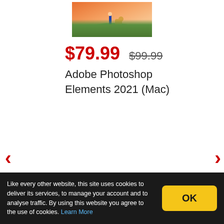[Figure (photo): Product box image of Adobe Photoshop Elements 2021 (Mac) showing a person and a dog standing on a grassy hill at sunset with a lake in the background]
$79.99  $99.99
Adobe Photoshop Elements 2021 (Mac)
<
>
Like every other website, this site uses cookies to deliver its services, to manage your account and to analyse traffic. By using this website you agree to the use of cookies. Learn More